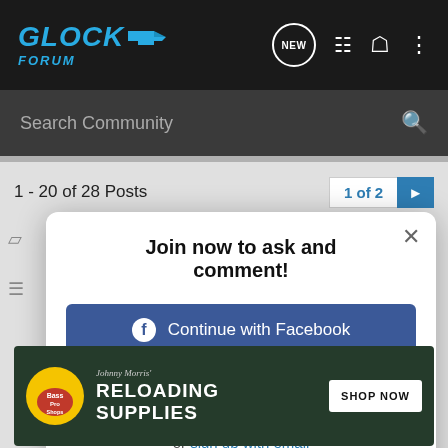GLOCK FORUM
Search Community
1 - 20 of 28 Posts
1 of 2
Join now to ask and comment!
Continue with Facebook
Continue with Google
or sign up with email
[Figure (screenshot): Bass Pro Shops Reloading Supplies advertisement banner with shop now button]